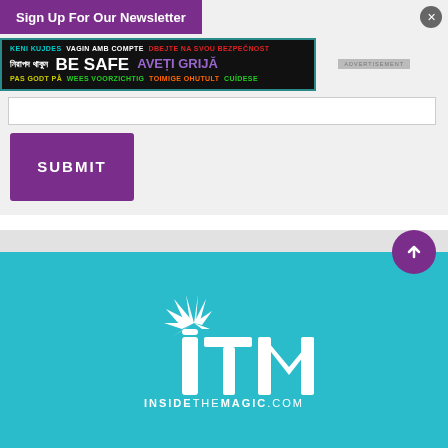Sign Up For Our Newsletter
[Figure (infographic): Safety message advertisement banner with multilingual 'BE SAFE' text in various colors on dark background]
[Figure (other): White submit button with purple background]
[Figure (logo): ITM Inside The Magic logo on teal background with stylized letters and spark graphic]